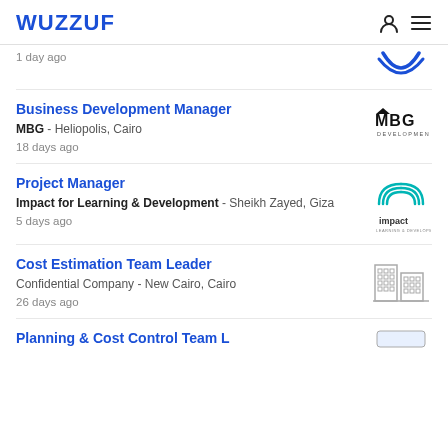WUZZUF
1 day ago
Business Development Manager
MBG - Heliopolis, Cairo
18 days ago
Project Manager
Impact for Learning & Development - Sheikh Zayed, Giza
5 days ago
Cost Estimation Team Leader
Confidential Company - New Cairo, Cairo
26 days ago
Planning & Cost Control Team L...